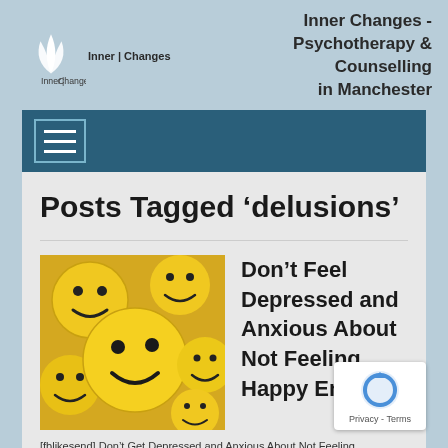[Figure (logo): Inner Changes logo with leaf/petal SVG icon and text 'Inner | Changes']
Inner Changes - Psychotherapy & Counselling in Manchester
[Figure (screenshot): Dark blue navigation bar with hamburger menu icon (three horizontal white lines in a box)]
Posts Tagged ‘delusions’
[Figure (photo): Photo of multiple yellow smiley face balls/emoji balls clustered together]
Don’t Feel Depressed and Anxious About Not Feeling Happy Enough
[fblikesend] Don’t Get Depressed and Anxious About Not Feeling